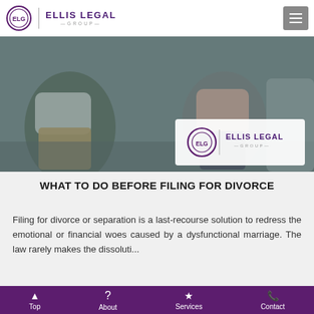Ellis Legal Group
[Figure (photo): A couple sitting apart on a couch in a tense posture, representing marital conflict, with Ellis Legal Group logo overlay in bottom right]
WHAT TO DO BEFORE FILING FOR DIVORCE
Filing for divorce or separation is a last-recourse solution to redress the emotional or financial woes caused by a dysfunctional marriage. The law rarely makes the dissoluti...
[Figure (photo): Partial photo visible at bottom of page, appears to be money/financial documents]
Top | About | Services | Contact